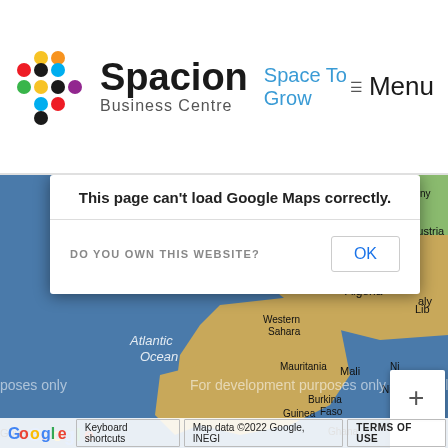[Figure (logo): Spacion Business Centre logo with colorful dot grid icon]
Space To Grow
Menu
[Figure (screenshot): Google Maps error dialog overlay on map background showing Africa. Dialog says: 'This page can't load Google Maps correctly.' with 'DO YOU OWN THIS WEBSITE?' and OK button. Map shows Atlantic Ocean, Morocco, Algeria, Western Sahara, Mauritania, Mali, Burkina Faso, Guinea, Ghana, Tunisia, with 'For development purposes only' watermark. Google logo and footer with Keyboard shortcuts, Map data ©2022 Google INEGI, TERMS OF USE.]
This page can't load Google Maps correctly.
DO YOU OWN THIS WEBSITE?
OK
For development purposes only
Keyboard shortcuts | Map data ©2022 Google, INEGI | TERMS OF USE